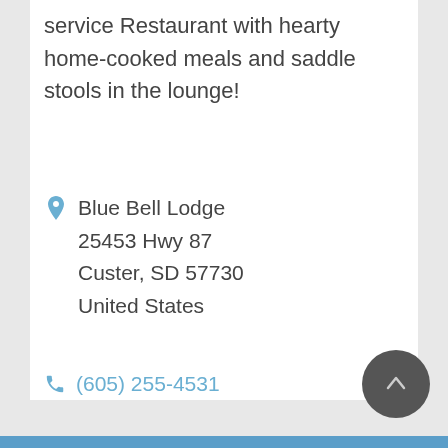service Restaurant with hearty home-cooked meals and saddle stools in the lounge!
Blue Bell Lodge
25453 Hwy 87
Custer, SD 57730
United States
(605) 255-4531
Website
Book Now